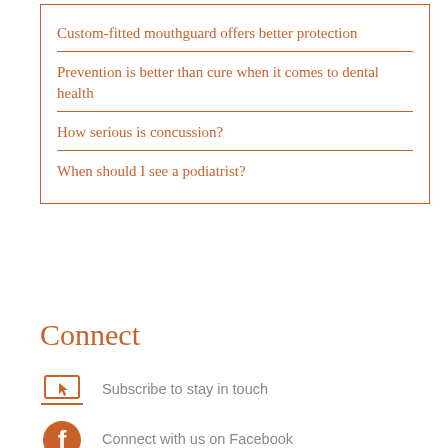Custom-fitted mouthguard offers better protection
Prevention is better than cure when it comes to dental health
How serious is concussion?
When should I see a podiatrist?
Connect
Subscribe to stay in touch
Connect with us on Facebook
1800 335 425
Mon-Thur 8.30am-8:00pm
Fri 8:300am – 6:00pm AEDT